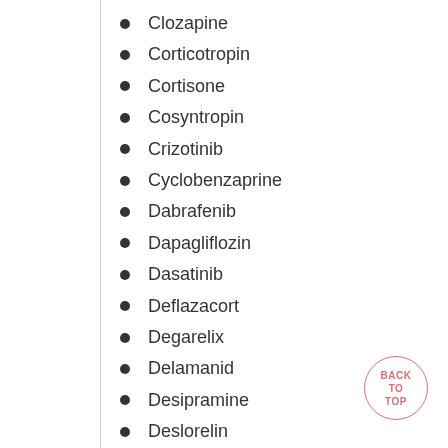Clozapine
Corticotropin
Cortisone
Cosyntropin
Crizotinib
Cyclobenzaprine
Dabrafenib
Dapagliflozin
Dasatinib
Deflazacort
Degarelix
Delamanid
Desipramine
Deslorelin
Deutetrabenazine
Dexamethasone